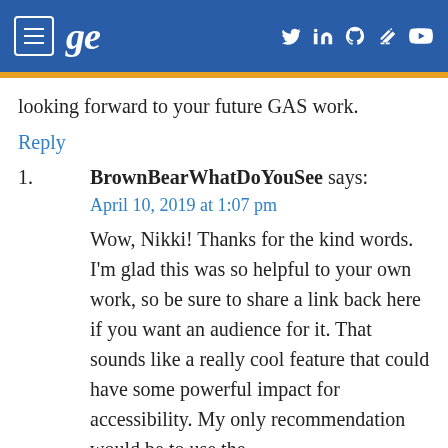GE [logo with hamburger menu and social icons]
looking forward to your future GAS work.
Reply
1. BrownBearWhatDoYouSee says:
April 10, 2019 at 1:07 pm
Wow, Nikki! Thanks for the kind words. I'm glad this was so helpful to your own work, so be sure to share a link back here if you want an audience for it. That sounds like a really cool feature that could have some powerful impact for accessibility. My only recommendation would be to use the